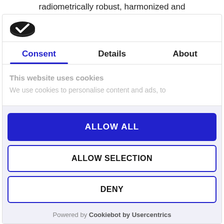radiometrically robust, harmonized and
[Figure (logo): Cookiebot logo - dark oval checkmark icon]
Consent	Details	About
This website uses cookies
We use cookies to personalise content and ads, to
ALLOW ALL
ALLOW SELECTION
DENY
Powered by Cookiebot by Usercentrics